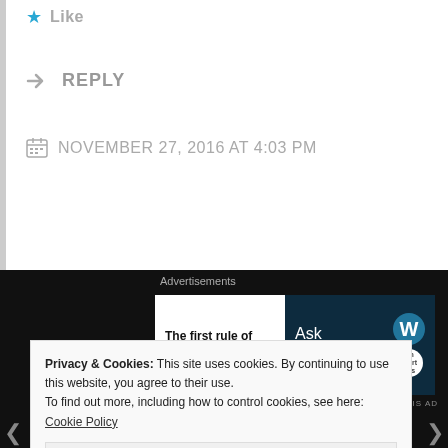Like
REPLY
NOVEMBER 27, 2016 AT 4:03 PM
[Figure (screenshot): WordPress advertisement banner: 'The first rule of Startup School? Ask questions.' with WordPress and OnStartups logos on dark background]
[Figure (photo): Circular profile photo of a person smiling, black and white]
Privacy & Cookies: This site uses cookies. By continuing to use this website, you agree to their use. To find out more, including how to control cookies, see here: Cookie Policy
Close and accept